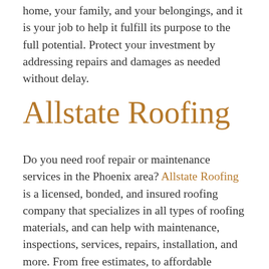home, your family, and your belongings, and it is your job to help it fulfill its purpose to the full potential. Protect your investment by addressing repairs and damages as needed without delay.
Allstate Roofing
Do you need roof repair or maintenance services in the Phoenix area? Allstate Roofing is a licensed, bonded, and insured roofing company that specializes in all types of roofing materials, and can help with maintenance, inspections, services, repairs, installation, and more. From free estimates, to affordable services, to 100%